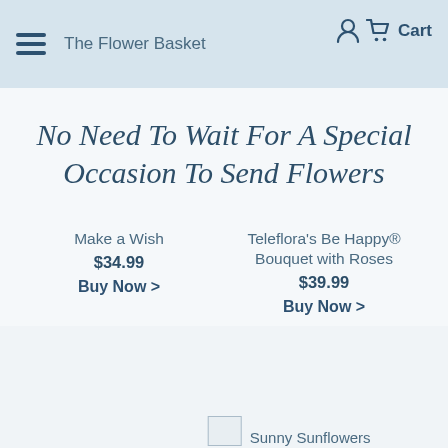The Flower Basket  Cart
No Need To Wait For A Special Occasion To Send Flowers
Make a Wish
$34.99
Buy Now >
Teleflora's Be Happy® Bouquet with Roses
$39.99
Buy Now >
Sunny Sunflowers